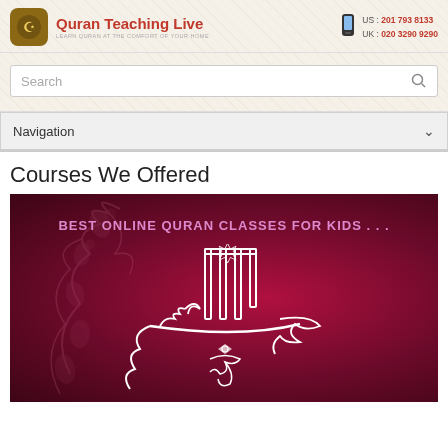[Figure (logo): Quran Teaching Live website logo with golden circular icon and red text]
US: 201 793 8133
UK: 020 3290 9290
Search
Navigation
Courses We Offered
[Figure (illustration): Dark maroon/crimson banner with Arabic calligraphy (Allahu Akbar) in white outline and text reading BEST ONLINE QURAN CLASSES FOR KIDS ... in pink/lavender letters]